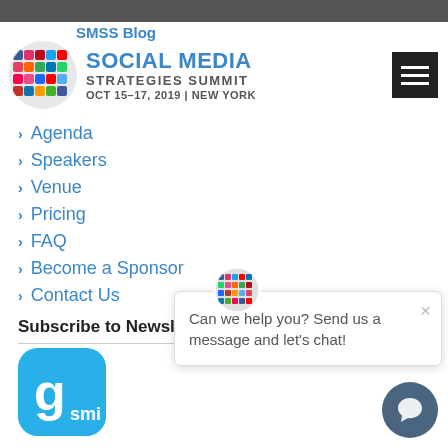SMSS Blog
[Figure (logo): Social Media Strategies Summit globe logo with colorful social media icons]
SOCIAL MEDIA STRATEGIES SUMMIT OCT 15-17, 2019 | NEW YORK
[Figure (other): Hamburger menu icon (three horizontal lines on dark background)]
Agenda
Speakers
Venue
Pricing
FAQ
Become a Sponsor
Contact Us
Subscribe to Newsle
[Figure (logo): GSmi blue rounded square logo with stylized G and smi text]
[Figure (other): Chat popup with globe icon showing message: Can we help you? Send us a message and let's chat!]
Can we help you? Send us a message and let's chat!